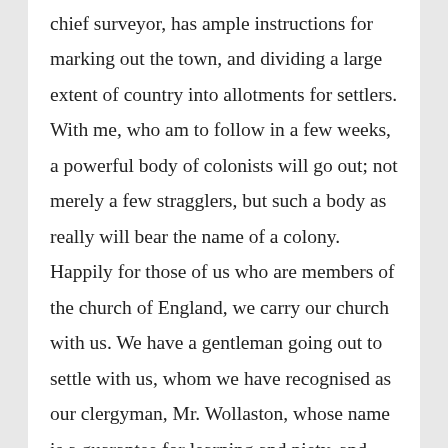chief surveyor, has ample instructions for marking out the town, and dividing a large extent of country into allotments for settlers. With me, who am to follow in a few weeks, a powerful body of colonists will go out; not merely a few stragglers, but such a body as really will bear the name of a colony. Happily for those of us who are members of the church of England, we carry our church with us. We have a gentleman going out to settle with us, whom we have recognised as our clergyman, Mr. Wollaston, whose name is a guarantee for learning and piety, and who himself possesses, in an eminent degree, those attainments and good qualities which seem